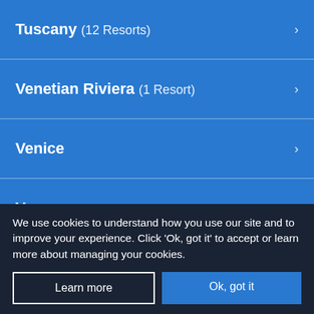Tuscany (12 Resorts)
Venetian Riviera (1 Resort)
Venice
Verona
Malta
Malta and Gozo (19 Resorts)
We use cookies to understand how you use our site and to improve your experience. Click 'Ok, got it' to accept or learn more about managing your cookies.
Learn more
Ok, got it